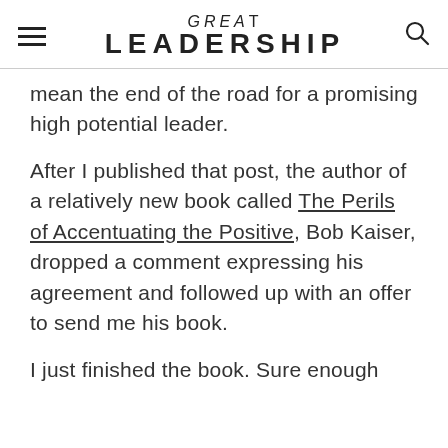GREAT LEADERSHIP
mean the end of the road for a promising high potential leader.
After I published that post, the author of a relatively new book called The Perils of Accentuating the Positive, Bob Kaiser, dropped a comment expressing his agreement and followed up with an offer to send me his book.
I just finished the book. Sure enough